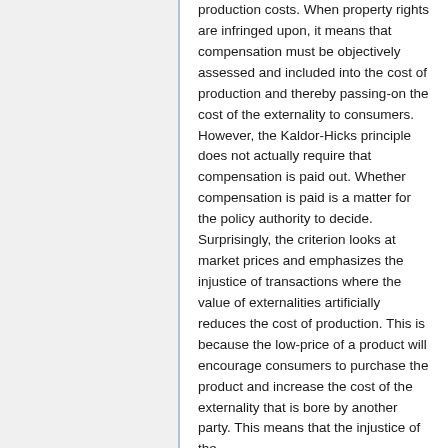production costs. When property rights are infringed upon, it means that compensation must be objectively assessed and included into the cost of production and thereby passing-on the cost of the externality to consumers. However, the Kaldor-Hicks principle does not actually require that compensation is paid out. Whether compensation is paid is a matter for the policy authority to decide. Surprisingly, the criterion looks at market prices and emphasizes the injustice of transactions where the value of externalities artificially reduces the cost of production. This is because the low-price of a product will encourage consumers to purchase the product and increase the cost of the externality that is bore by another party. This means that the injustice of the